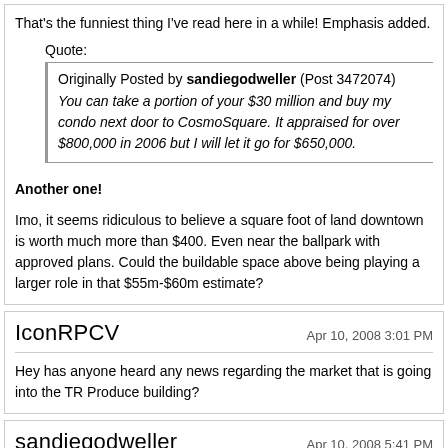That's the funniest thing I've read here in a while! Emphasis added.
Quote:
Originally Posted by sandiegodweller (Post 3472074)
You can take a portion of your $30 million and buy my condo next door to CosmoSquare. It appraised for over $800,000 in 2006 but I will let it go for $650,000.
Another one!
Imo, it seems ridiculous to believe a square foot of land downtown is worth much more than $400. Even near the ballpark with approved plans. Could the buildable space above being playing a larger role in that $55m-$60m estimate?
IconRPCV
Apr 10, 2008 3:01 PM
Hey has anyone heard any news regarding the market that is going into the TR Produce building?
sandiegodweller
Apr 10, 2008 5:41 PM